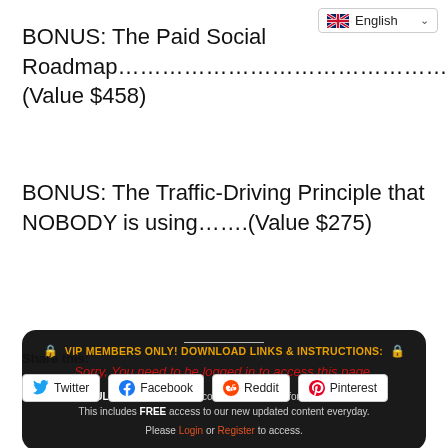[Figure (screenshot): Language selector dropdown showing UK flag and 'English' with chevron]
BONUS: The Paid Social Roadmap……………………………………….(Value $458)
BONUS: The Traffic-Driving Principle that NOBODY is using…….(Value $275)
🔒 VIP MEMBERS ONLY! DOWNLOAD LINKS & INSTRUCTIONS: 🔒
Sorry, You need to be logged in to access this page.
GET FULL ACCESS to all the content on this site for onetime payment. This includes FREE access to our new updated content everyday.
Please Login or Register to access.
Share this:
Twitter  Facebook  Reddit  Pinterest